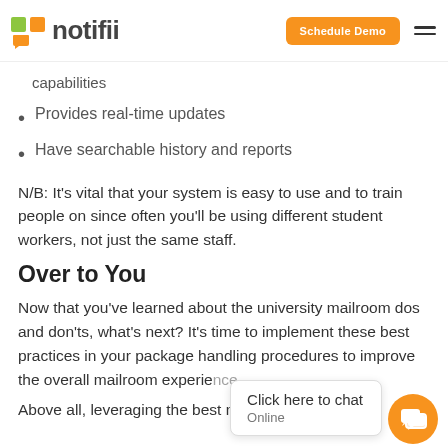notifii | Schedule Demo
capabilities
Provides real-time updates
Have searchable history and reports
N/B: It's vital that your system is easy to use and to train people on since often you'll be using different student workers, not just the same staff.
Over to You
Now that you've learned about the university mailroom dos and don'ts, what's next? It's time to implement these best practices in your package handling procedures to improve the overall mailroom experience.
Above all, leveraging the best mailroom package